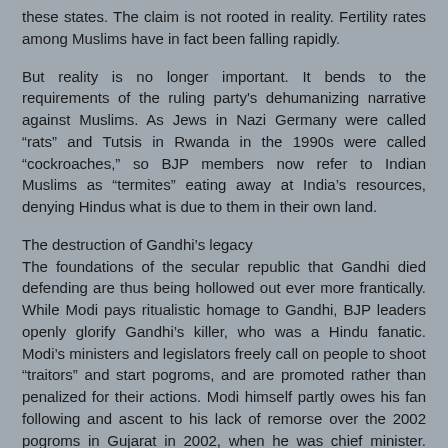these states. The claim is not rooted in reality. Fertility rates among Muslims have in fact been falling rapidly.
But reality is no longer important. It bends to the requirements of the ruling party's dehumanizing narrative against Muslims. As Jews in Nazi Germany were called “rats” and Tutsis in Rwanda in the 1990s were called “cockroaches,” so BJP members now refer to Indian Muslims as “termites” eating away at India’s resources, denying Hindus what is due to them in their own land.
The destruction of Gandhi’s legacy
The foundations of the secular republic that Gandhi died defending are thus being hollowed out ever more frantically. While Modi pays ritualistic homage to Gandhi, BJP leaders openly glorify Gandhi’s killer, who was a Hindu fanatic. Modi’s ministers and legislators freely call on people to shoot “traitors” and start pogroms, and are promoted rather than penalized for their actions. Modi himself partly owes his fan following and ascent to his lack of remorse over the 2002 pogroms in Gujarat in 2002, when he was chief minister. Hundreds of Muslims were killed and thousands